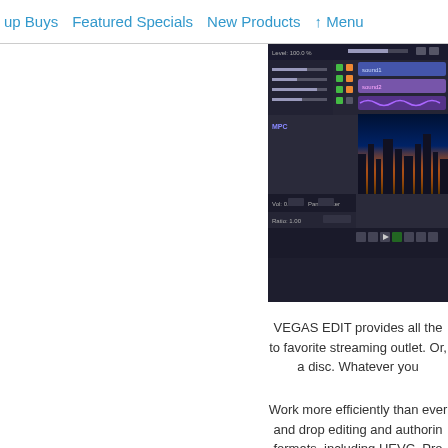up Buys  Featured Specials  New Products  ↑ Menu
[Figure (screenshot): VEGAS EDIT software interface screenshot showing audio/video timeline editor with city skyline background, mixer controls, track sliders, and transport controls]
VEGAS EDIT provides all the to favorite streaming outlet. Or, a disc. Whatever you
Work more efficiently than ever and drop editing and authorin formats, including HEVC, Pro transcode. Powerful hardware a the rendering process. Des